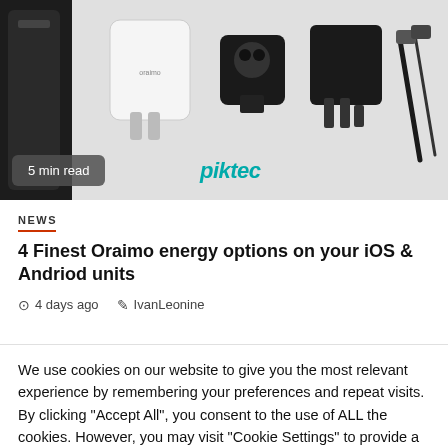[Figure (photo): Product image showing a black power bank/device on left, white USB charger adapter in center, a black plug adapter, a dark charger with UK-style plug, and charging cables on right. A '5 min read' badge is overlaid bottom-left, and a 'piktec' logo appears at bottom center.]
NEWS
4 Finest Oraimo energy options on your iOS & Andriod units
4 days ago   IvanLeonine
We use cookies on our website to give you the most relevant experience by remembering your preferences and repeat visits. By clicking "Accept All", you consent to the use of ALL the cookies. However, you may visit "Cookie Settings" to provide a controlled consent.